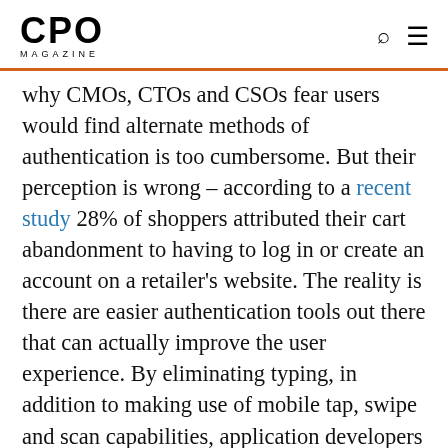CPO MAGAZINE
why CMOs, CTOs and CSOs fear users would find alternate methods of authentication is too cumbersome. But their perception is wrong – according to a recent study 28% of shoppers attributed their cart abandonment to having to log in or create an account on a retailer's website. The reality is there are easier authentication tools out there that can actually improve the user experience. By eliminating typing, in addition to making use of mobile tap, swipe and scan capabilities, application developers can design applications with both simple and secure